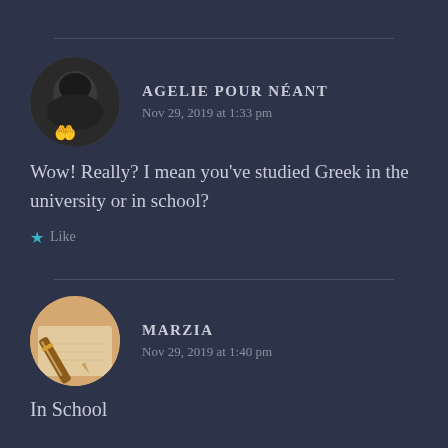[Figure (other): Horizontal divider line]
[Figure (photo): Dark circular avatar with two white hand emojis at the bottom]
AGELIE POUR NÉANT
Nov 29, 2019 at 1:33 pm
Wow! Really? I mean you've studied Greek in the university or in school?
Like
[Figure (other): Horizontal divider line]
[Figure (photo): Circular avatar showing a pen resting on paper]
MARZIA
Nov 29, 2019 at 1:40 pm
In School